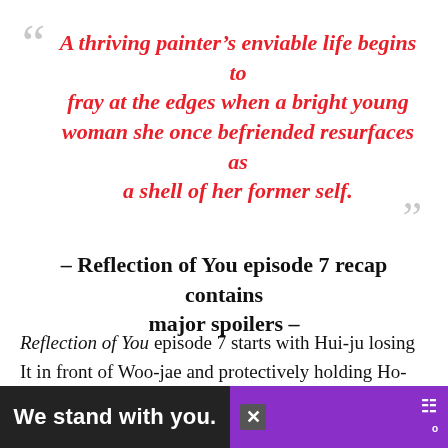“ A thriving painter’s enviable life begins to fray at the edges when a bright young woman she once befriended resurfaces as a shell of her former self. ”
– Reflection of You episode 7 recap contains major spoilers –
Reflection of You episode 7 starts with Hui-ju losing It in front of Woo-jae and protectively holding Ho-su. Although Woo-jae is confused regarding why she is so scared of him, the question is never answered since Hyeon-seong comes to see the co... and loc... ui-ju is.